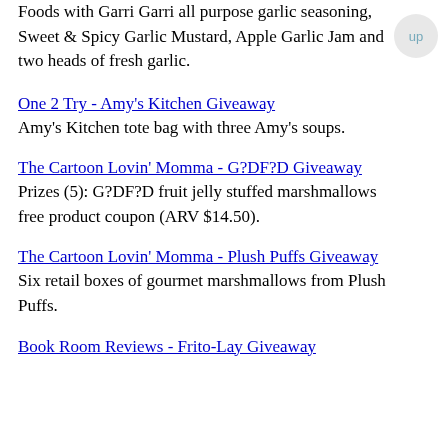Foods with Garri Garri all purpose garlic seasoning, Sweet & Spicy Garlic Mustard, Apple Garlic Jam and two heads of fresh garlic.
One 2 Try - Amy's Kitchen Giveaway
Amy's Kitchen tote bag with three Amy's soups.
The Cartoon Lovin' Momma - G?DF?D Giveaway
Prizes (5): G?DF?D fruit jelly stuffed marshmallows free product coupon (ARV $14.50).
The Cartoon Lovin' Momma - Plush Puffs Giveaway
Six retail boxes of gourmet marshmallows from Plush Puffs.
Book Room Reviews - Frito-Lay Giveaway